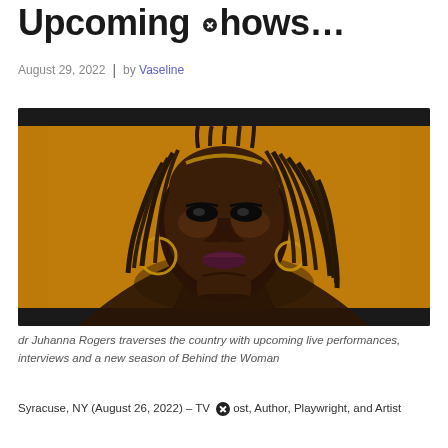Upcoming Shows…
August 29, 2022  |  by Vaseline
[Figure (photo): Portrait of dr Juhanna Rogers: a woman with locs wearing gold accessories and dark makeup against a golden-amber background, hands clasped under chin, framed with dark top and bottom bars.]
dr Juhanna Rogers traverses the country with upcoming live performances, interviews and a new season of Behind the Woman
Syracuse, NY (August 26, 2022) – TV Host, Author, Playwright, and Artist